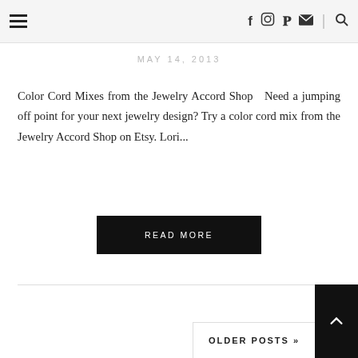Navigation bar with hamburger menu and social icons
MAY 14, 2013
Color Cord Mixes from the Jewelry Accord Shop  Need a jumping off point for your next jewelry design? Try a color cord mix from the Jewelry Accord Shop on Etsy. Lori...
READ MORE
OLDER POSTS »